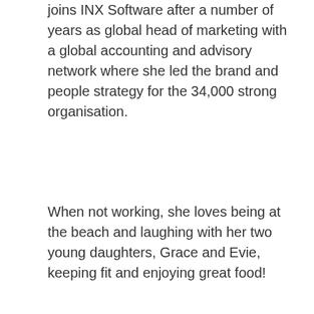joins INX Software after a number of years as global head of marketing with a global accounting and advisory network where she led the brand and people strategy for the 34,000 strong organisation.
When not working, she loves being at the beach and laughing with her two young daughters, Grace and Evie, keeping fit and enjoying great food!
[Figure (photo): Portrait photo of a man wearing glasses, with a blurred background. A cookie consent overlay reads: 'We use cookies to ensure that we give you the best experience on our website. If you continue to use this site we will assume that you are happy with it.']